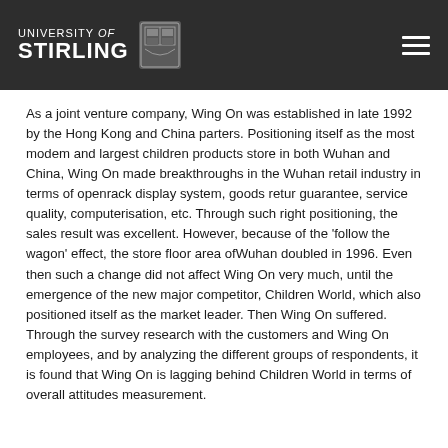University of Stirling
As a joint venture company, Wing On was established in late 1992 by the Hong Kong and China parters. Positioning itself as the most modem and largest children products store in both Wuhan and China, Wing On made breakthroughs in the Wuhan retail industry in terms of openrack display system, goods retur guarantee, service quality, computerisation, etc. Through such right positioning, the sales result was excellent. However, because of the 'follow the wagon' effect, the store floor area ofWuhan doubled in 1996. Even then such a change did not affect Wing On very much, until the emergence of the new major competitor, Children World, which also positioned itself as the market leader. Then Wing On suffered. Through the survey research with the customers and Wing On employees, and by analyzing the different groups of respondents, it is found that Wing On is lagging behind Children World in terms of overall attitudes measurement.